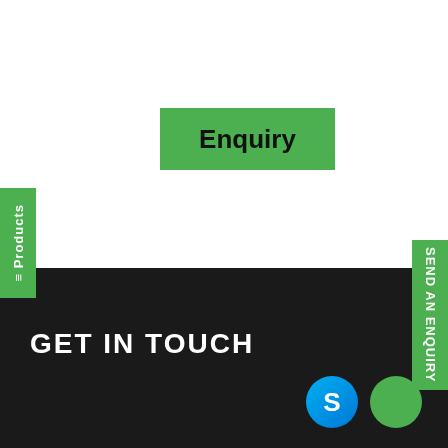Enquiry
≡ Products
SEND AN ENQUIRY
GET IN TOUCH